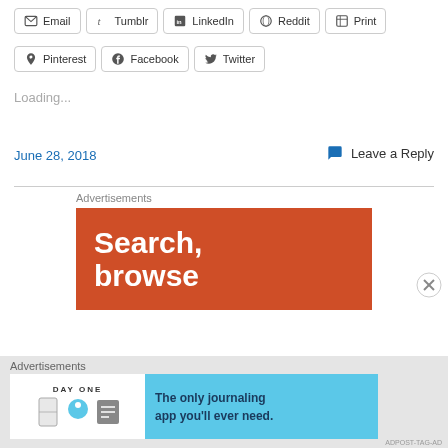Email
Tumblr
LinkedIn
Reddit
Print
Pinterest
Facebook
Twitter
Loading...
June 28, 2018
Leave a Reply
Advertisements
[Figure (other): Advertisement banner with orange background showing text 'Search, browse']
Advertisements
[Figure (other): Day One app advertisement on light blue background: 'The only journaling app you'll ever need.']